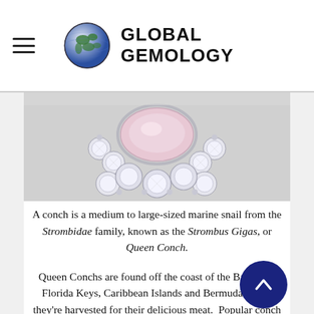GLOBAL GEMOLOGY
[Figure (photo): Close-up photo of a conch pearl brooch or pendant with a pink oval conch pearl center stone surrounded by a halo of sparkling round brilliant-cut diamonds set in silver/white metal, showing the bottom half of the piece.]
A conch is a medium to large-sized marine snail from the Strombidae family, known as the Strombus Gigas, or Queen Conch.
Queen Conchs are found off the coast of the Bahamas, Florida Keys, Caribbean Islands and Bermuda where they're harvested for their delicious meat. Popular conch dishes include conch fritters, conch salad and conch chowder.